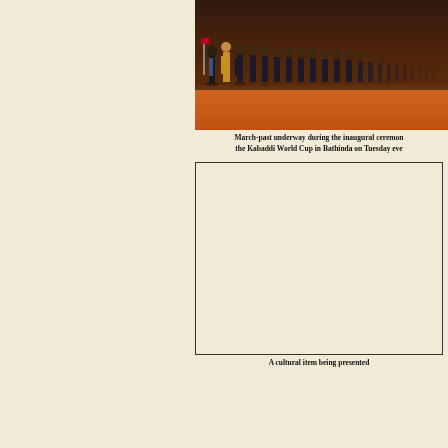[Figure (photo): March-past procession during the inaugural ceremony of the Kabaddi World Cup in Bathinda, showing a line of athletes marching on an orange/red lit surface]
March-past underway during the inaugural ceremony of the Kabaddi World Cup in Bathinda on Tuesday eve
[Figure (photo): A cultural item being presented - image area shown as blank/light colored box]
A cultural item being presented